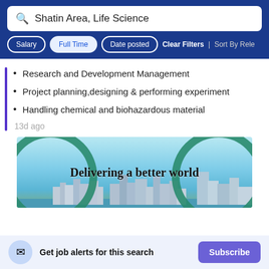Shatin Area, Life Science
Salary | Full Time | Date posted | Clear Filters | Sort By Rele...
Research and Development Management
Project planning,designing & performing experiment
Handling chemical and biohazardous material
13d ago
[Figure (illustration): Advertising banner showing Hong Kong skyline with the text 'Delivering a better world' and green circular decorative elements]
Get job alerts for this search
Subscribe